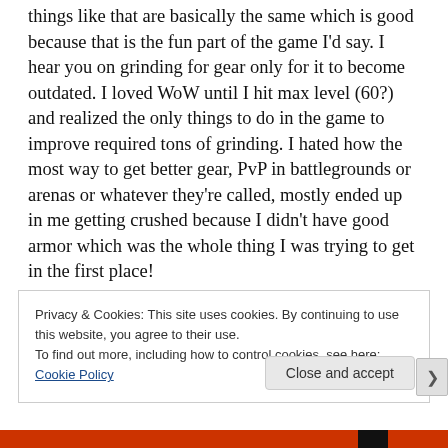things like that are basically the same which is good because that is the fun part of the game I'd say. I hear you on grinding for gear only for it to become outdated. I loved WoW until I hit max level (60?) and realized the only things to do in the game to improve required tons of grinding. I hated how the most way to get better gear, PvP in battlegrounds or arenas or whatever they're called, mostly ended up in me getting crushed because I didn't have good armor which was the whole thing I was trying to get in the first place!
Privacy & Cookies: This site uses cookies. By continuing to use this website, you agree to their use.
To find out more, including how to control cookies, see here:
Cookie Policy